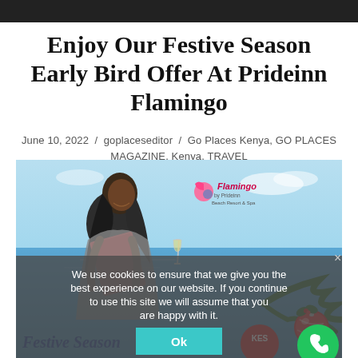Enjoy Our Festive Season Early Bird Offer At Prideinn Flamingo
June 10, 2022 / goplaceseditor / Go Places Kenya, GO PLACES MAGAZINE, Kenya, TRAVEL
[Figure (photo): Resort promotional image showing a smiling woman at a beach resort holding a book, with the Flamingo by Prideinn Beach Resort & Spa logo, festive season decorations including Christmas ornaments and palm fronds, with 'Festive Season' text and KES pricing badge visible. A cookie consent overlay covers the lower portion reading 'We use cookies to ensure that we give you the best experience on our website. If you continue to use this site we will assume that you are happy with it.' with an Ok button and a phone icon button.]